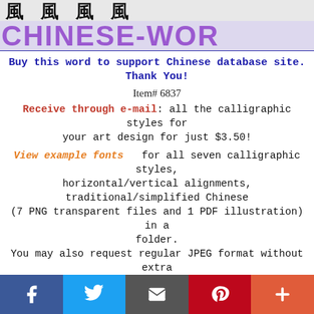[Figure (illustration): Header with Chinese calligraphic characters at top and large purple 'CHINESE-WOR' text banner below]
Buy this word to support Chinese database site. Thank You!
Item# 6837
Receive through e-mail: all the calligraphic styles for your art design for just $3.50!
View example fonts   for all seven calligraphic styles, horizontal/vertical alignments, traditional/simplified Chinese (7 PNG transparent files and 1 PDF illustration) in a folder. You may also request regular JPEG format without extra charge.
Purchase the multi-style calligraphic clip-art for this
[Figure (infographic): Social media share buttons: Facebook, Twitter, Email, Pinterest, Plus]